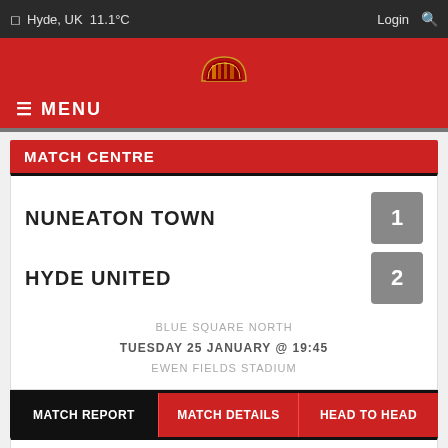Hyde, UK  11.1°C   Login
[Figure (logo): Hyde United FC club crest/logo in small size centered on red header background]
☰ MENU
MATCH CENTRE
NUNEATON TOWN  1
HYDE UNITED  2
BLUE SQUARE NORTH
TUESDAY 25 JANUARY @ 19:45
EWEN FIELDS STADIUM
MATCH REPORT   MATCH DETAILS   HEAD TO HEAD